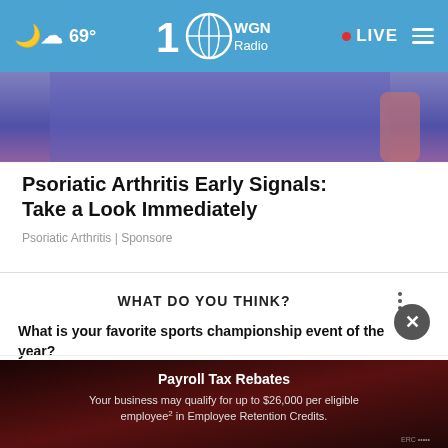69° WGN Radio · LIVE
[Figure (photo): Partial image showing blue/purple colored fabric or clothing in background]
Psoriatic Arthritis Early Signals: Take a Look Immediately
Psoriatic Arthritis | Sponsore
WHAT DO YOU THINK?
What is your favorite sports championship event of the year?
The Super Bowl
NBA Championship
The Stanley Cup Finals
[Figure (infographic): Advertisement overlay: Payroll Tax Rebates - Your business may qualify for up to $26,000 per eligible employee in Employee Retention Credits.]